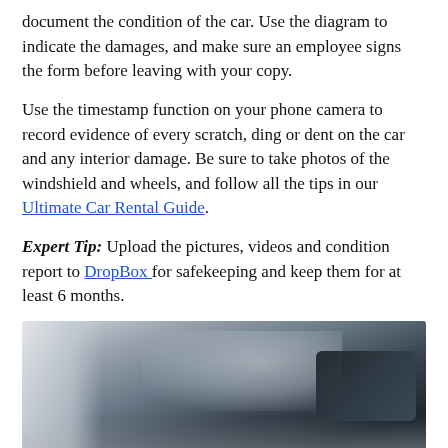document the condition of the car. Use the diagram to indicate the damages, and make sure an employee signs the form before leaving with your copy.
Use the timestamp function on your phone camera to record evidence of every scratch, ding or dent on the car and any interior damage. Be sure to take photos of the windshield and wheels, and follow all the tips in our Ultimate Car Rental Guide.
Expert Tip: Upload the pictures, videos and condition report to DropBox for safekeeping and keep them for at least 6 months.
[Figure (photo): Photo of a car interior/dashboard viewed from inside, blurred, showing steering wheel area and windshield]